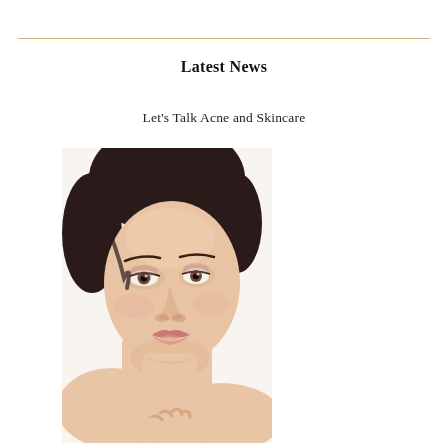Latest News
Let's Talk Acne and Skincare
[Figure (photo): Close-up portrait of a young woman with dark hair, clear skin, wearing no top, resting her hand near her shoulder. The image is used in context of a skincare/acne article.]